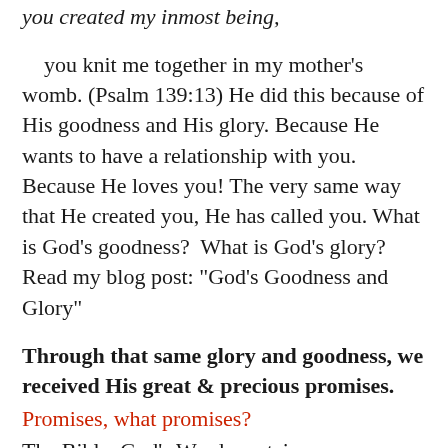you created my inmost being,
you knit me together in my mother’s womb. (Psalm 139:13) He did this because of His goodness and His glory. Because He wants to have a relationship with you.  Because He loves you! The very same way that He created you, He has called you. What is God’s goodness?  What is God’s glory? Read my blog post: “God’s Goodness and Glory”
Through that same glory and goodness, we received His great & precious promises.
Promises, what promises?
The Bible, God’s Word, contains